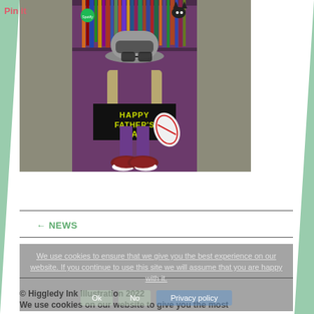Pin it
[Figure (illustration): A Father's Day card illustration showing a stylized figure wearing a grey fedora hat and glasses, holding a rugby ball, standing in front of bookshelves. The card shows 'HAPPY FATHER'S DAY' text in yellow Star Wars-style font on a black banner. A cat sits on top of the bookshelf. The figure wears dark red/maroon shoes. A Spotify logo is visible in the top left of the card. The card has a purple/plum background.]
← NEWS
We use cookies to ensure that we give you the best experience on our website. If you continue to use this site we will assume that you are happy with it.
Ok   No   Privacy policy
© Higgledy Ink Illustration 2022
We use cookies on our website to give you the most